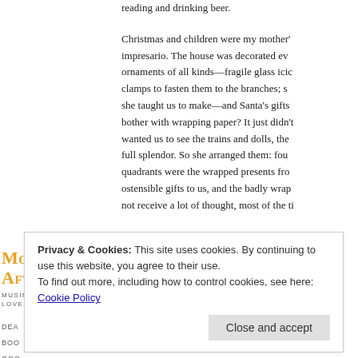reading and drinking beer.
Christmas and children were my mother's impresario. The house was decorated ev ornaments of all kinds—fragile glass icic clamps to fasten them to the branches; s she taught us to make—and Santa's gifts bother with wrapping paper? It just didn't wanted us to see the trains and dolls, the full splendor. So she arranged them: fou quadrants were the wrapped presents fro ostensible gifts to us, and the badly wrap not receive a lot of thought, most of the t
Mostly in the Afternoon
MUSINGS ON FOOD, BOOKS, LOVE,
Privacy & Cookies: This site uses cookies. By continuing to use this website, you agree to their use.
To find out more, including how to control cookies, see here: Cookie Policy
Close and accept
jacket...